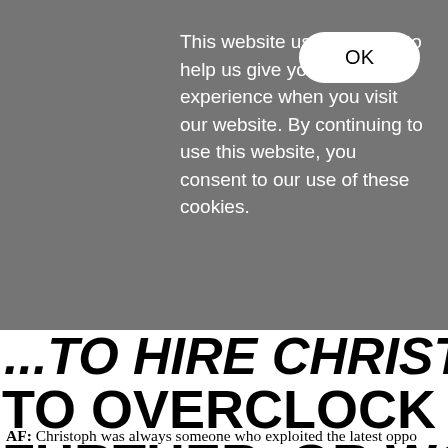[Figure (logo): SPIKE logo in bold vertical text on white background with hamburger menu icon below]
This website uses cookies to help us give you the best experience when you visit our website. By continuing to use this website, you consent to our use of these cookies.
OK
TO OVERCLOCK TRUMP FURTHER, OR WOULD H MORAL, RATIONAL ST
AF: Christoph was always someone who exploited the latest oppo Web. He also worked on his own website for nights on end .... As